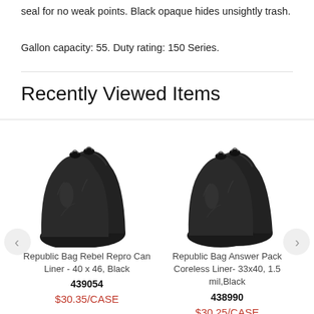seal for no weak points. Black opaque hides unsightly trash.
Gallon capacity: 55. Duty rating: 150 Series.
Recently Viewed Items
[Figure (photo): Two black trash bags bundled together - Republic Bag Rebel Repro Can Liner 40x46]
Republic Bag Rebel Repro Can Liner - 40 x 46, Black
439054
$30.35/CASE
[Figure (photo): Two black trash bags bundled together - Republic Bag Answer Pack Coreless Liner 33x40 1.5 mil Black]
Republic Bag Answer Pack Coreless Liner- 33x40, 1.5 mil,Black
438990
$30.25/CASE